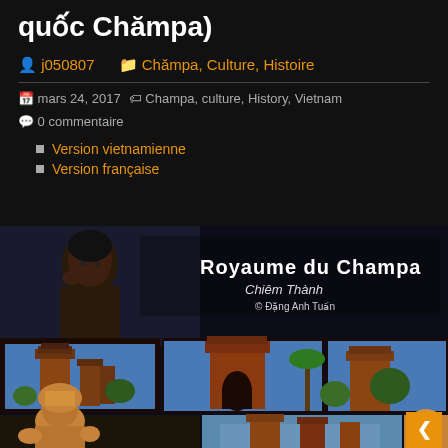quốc Chămpa)
👤 j050807    📁 Chămpa, Culture, Histoire
📅 mars 24, 2017    🏷 Champa, culture, History, Vietnam    💬 0 commentaire
Version vietnamienne
Version française
[Figure (photo): Collage of Champa kingdom images: woman portrait overlaid with 'Royaume du Champa / Chiêm Thành / © Đặng Anh Tuấn' text, three temple photos (brick towers), and two rows of Cham sculpture/statue images below]